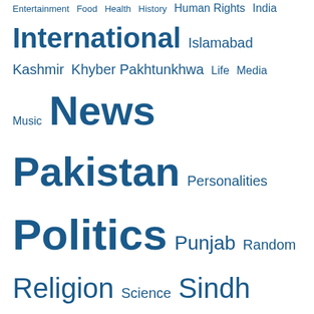[Figure (infographic): Tag cloud with words of varying sizes in blue, including Entertainment, Food, Health, History, Human Rights, India, International, Islamabad, Kashmir, Khyber Pakhtunkhwa, Life, Media, Music, News, Pakistan, Personalities, Politics, Punjab, Random, Religion, Science, Sindh, Sindhi, Uncategorized, Video]
ALTAF SHAIKH CORNER
Altaf Shaikh Columns
BLOGROLL
Agha Ji Otaq
All Things Pakistan